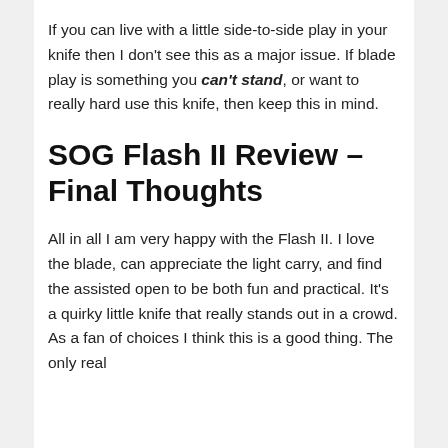If you can live with a little side-to-side play in your knife then I don't see this as a major issue. If blade play is something you can't stand, or want to really hard use this knife, then keep this in mind.
SOG Flash II Review – Final Thoughts
All in all I am very happy with the Flash II. I love the blade, can appreciate the light carry, and find the assisted open to be both fun and practical. It's a quirky little knife that really stands out in a crowd. As a fan of choices I think this is a good thing. The only real